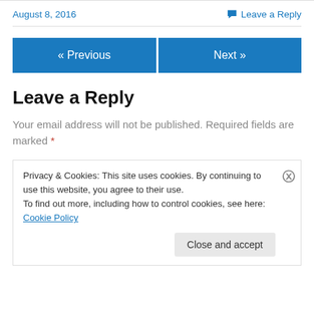August 8, 2016
Leave a Reply
Leave a Reply
Your email address will not be published. Required fields are marked *
Privacy & Cookies: This site uses cookies. By continuing to use this website, you agree to their use.
To find out more, including how to control cookies, see here: Cookie Policy
Close and accept